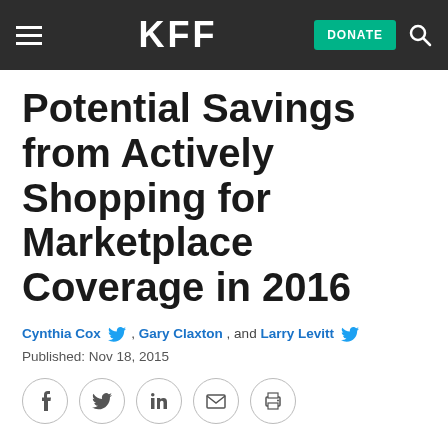KFF | DONATE
Potential Savings from Actively Shopping for Marketplace Coverage in 2016
Cynthia Cox, Gary Claxton, and Larry Levitt
Published: Nov 18, 2015